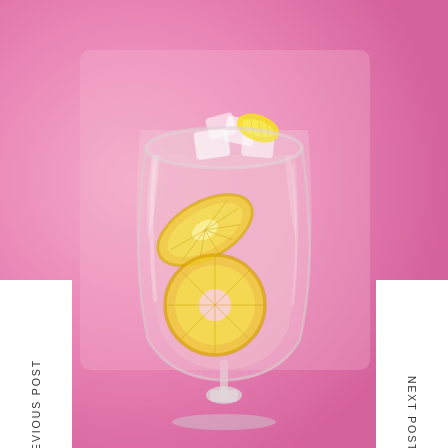[Figure (photo): A glass of pink lemonade with ice cubes and lemon slices on a pink background. The glass is a stemmed goblet filled with a pale pink drink, garnished with lemon wedge on top and curled lemon slices inside the glass.]
PREVIOUS POST
NEXT POST